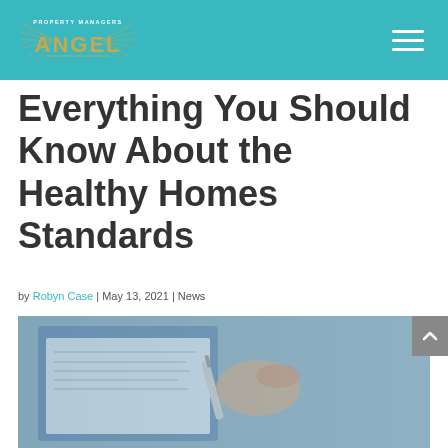Property Managers Angel — navigation header with logo and hamburger menu
Everything You Should Know About the Healthy Homes Standards
by Robyn Case | May 13, 2021 | News
[Figure (photo): Hands signing or reviewing a document on a clipboard with a pen]